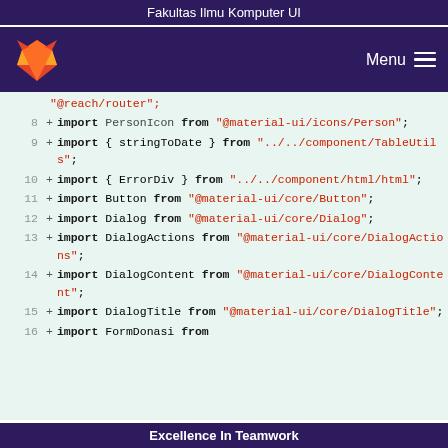Fakultas Ilmu Komputer UI
[Figure (screenshot): Navigation bar with GitLab fox logo on the left and Menu hamburger icon on the right, on dark purple background]
Code diff view showing JavaScript import statements, lines 8-16, with line numbers, plus signs, keywords and string paths highlighted
Excellence In Teamwork